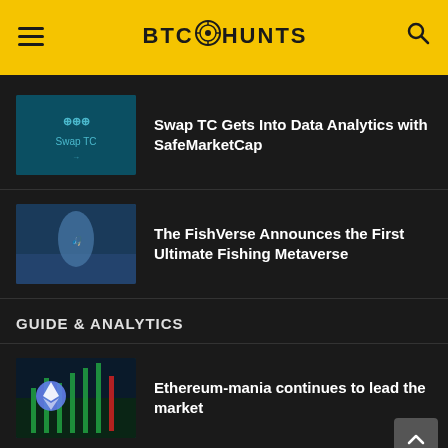BTC HUNTS
[Figure (screenshot): Thumbnail image for Swap TC article showing the Swap TC logo on dark teal background]
Swap TC Gets Into Data Analytics with SafeMarketCap
[Figure (screenshot): Thumbnail image for FishVerse article showing a 3D character in a fishing metaverse scene]
The FishVerse Announces the First Ultimate Fishing Metaverse
GUIDE & ANALYTICS
[Figure (screenshot): Thumbnail image for Ethereum article showing Ethereum coin with green candlestick charts]
Ethereum-mania continues to lead the market
[Figure (screenshot): Thumbnail image for forked Ethereum article]
There's already a forked Ethereum token (and it's